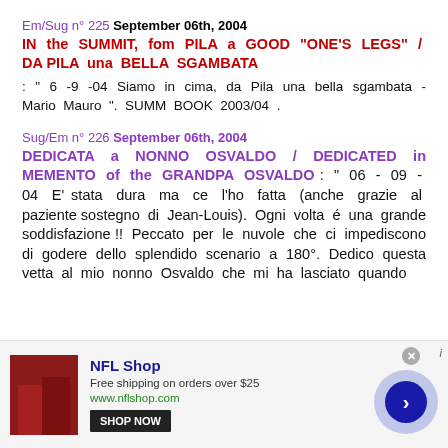Em/Sug n° 225 September 06th, 2004
IN the SUMMIT, fom PILA a GOOD "ONE'S LEGS" / DA PILA una BELLA SGAMBATA
: " 6 -9 -04 Siamo in cima, da Pila una bella sgambata - Mario Mauro ". SUMM BOOK 2003/04 .
Sug/Em n° 226 September 06th, 2004
DEDICATA a NONNO OSVALDO / DEDICATED in MEMENTO of the GRANDPA OSVALDO
: " 06 - 09 - 04 E' stata dura ma ce l'ho fatta (anche grazie al paziente sostegno di Jean-Louis). Ogni volta é una grande soddisfazione !! Peccato per le nuvole che ci impediscono di godere dello splendido scenario a 180°. Dedico questa vetta al mio nonno Osvaldo che mi ha lasciato quando
[Figure (infographic): NFL Shop advertisement banner with football jersey image, shop now button, and arrow navigation circle]